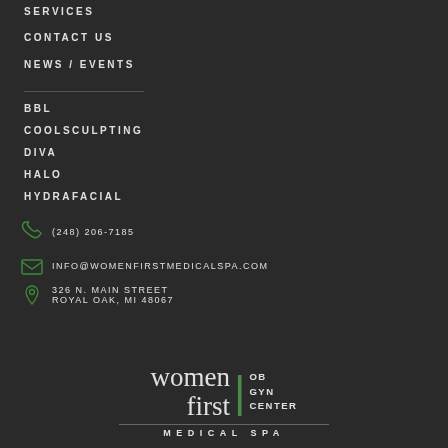SERVICES
CONTACT US
NEWS / EVENTS
BBL
COOLSCULPTING
DIVA
HALO
HYDRAFACIAL
(248) 206-7185
INFO@WOMENFIRSTMEDICALSPA.COM
326 N. MAIN STREET
ROYAL OAK, MI 48067
[Figure (logo): Women First OB GYN Center Medical Spa logo with serif wordmark and vertical green pipe divider]